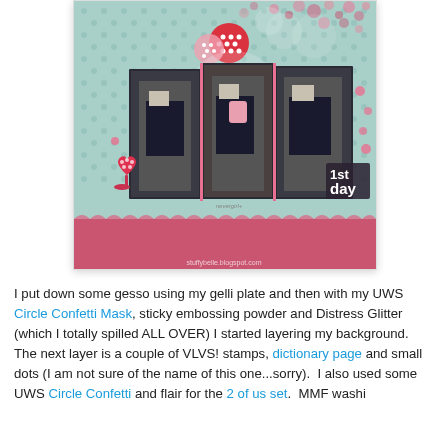[Figure (photo): Scrapbook layout photo showing three images of a young girl in school uniform on a teal/mint dotted background with pink accents, red heart embellishment, pink ribbon at the bottom, and '1st day' text in bottom right corner. Website watermark: stuffybelle.blogspot.com]
I put down some gesso using my gelli plate and then with my UWS Circle Confetti Mask, sticky embossing powder and Distress Glitter (which I totally spilled ALL OVER) I started layering my background.  The next layer is a couple of VLVS! stamps, dictionary page and small dots (I am not sure of the name of this one...sorry).  I also used some UWS Circle Confetti and flair for the 2 of us set.  MMF washi